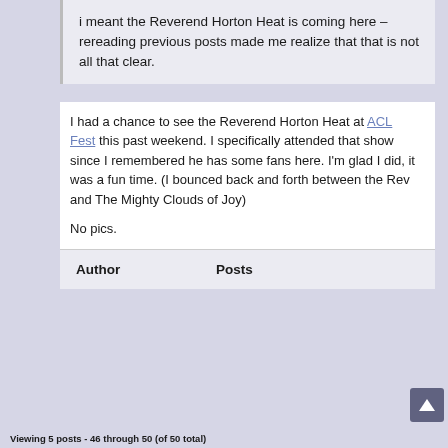i meant the Reverend Horton Heat is coming here – rereading previous posts made me realize that that is not all that clear.
I had a chance to see the Reverend Horton Heat at ACL Fest this past weekend. I specifically attended that show since I remembered he has some fans here. I'm glad I did, it was a fun time. (I bounced back and forth between the Rev and The Mighty Clouds of Joy)

No pics.
| Author | Posts |
| --- | --- |
Viewing 5 posts - 46 through 50 (of 50 total)